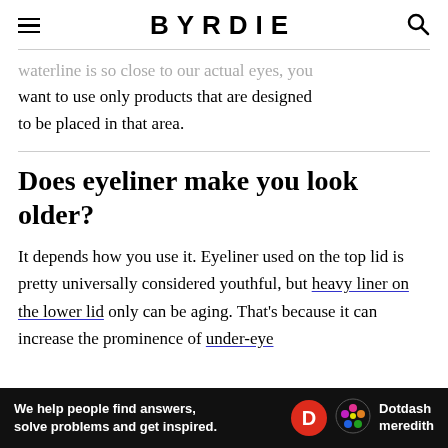BYRDIE
waterline is so close to our actual eyes, you want to use only products that are designed to be placed in that area.
Does eyeliner make you look older?
It depends how you use it. Eyeliner used on the top lid is pretty universally considered youthful, but heavy liner on the lower lid only can be aging. That's because it can increase the prominence of under-eye
We help people find answers, solve problems and get inspired. Dotdash meredith